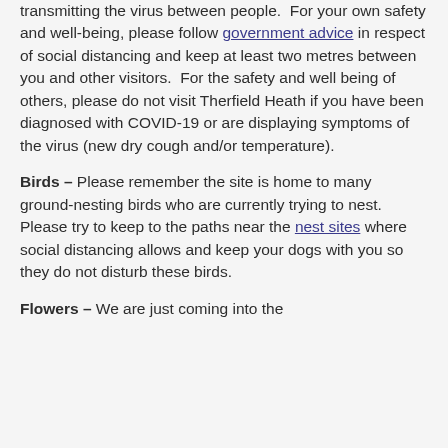transmitting the virus between people. For your own safety and well-being, please follow government advice in respect of social distancing and keep at least two metres between you and other visitors. For the safety and well being of others, please do not visit Therfield Heath if you have been diagnosed with COVID-19 or are displaying symptoms of the virus (new dry cough and/or temperature).
Birds – Please remember the site is home to many ground-nesting birds who are currently trying to nest. Please try to keep to the paths near the nest sites where social distancing allows and keep your dogs with you so they do not disturb these birds.
Flowers – We are just coming into the